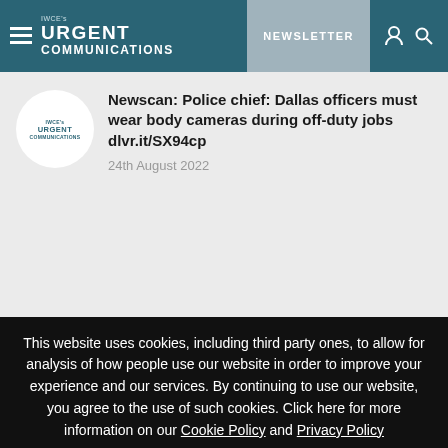IWCE's Urgent Communications — NEWSLETTER
Newscan: Police chief: Dallas officers must wear body cameras during off-duty jobs dlvr.it/SX94cp
24th August 2022
This website uses cookies, including third party ones, to allow for analysis of how people use our website in order to improve your experience and our services. By continuing to use our website, you agree to the use of such cookies. Click here for more information on our Cookie Policy and Privacy Policy
Accept and Close ✕
Your browser settings do not allow cross-site tracking for advertising. Click on this page to allow AdRoll to use cross-site tracking to tailor ads to you. Learn more or opt out of this AdRoll tracking by clicking here. This message only appears once.